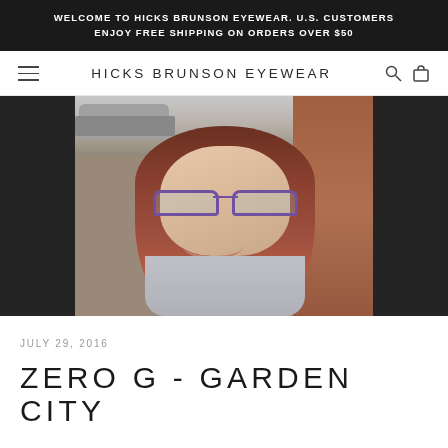WELCOME TO HICKS BRUNSON EYEWEAR. U.S. CUSTOMERS ENJOY FREE SHIPPING ON ORDERS OVER $50
HICKS BRUNSON EYEWEAR
[Figure (photo): Young woman with long reddish-brown hair wearing purple-framed glasses, smiling, standing outdoors near a brick wall and parked car]
JULY 29, 2016
ZERO G - GARDEN CITY